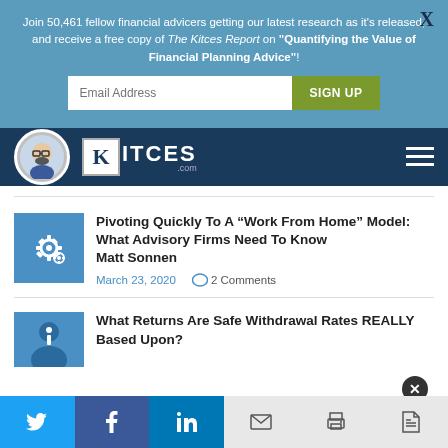Join 50,461 fellow financial advicers getting our latest research as it's released, and receive a free copy of The Kitces Report on "Quantifying the Value of Financial Planning Advice"!
[Figure (screenshot): Email address input field and green SIGN UP button on blue banner]
[Figure (logo): Kitces.com logo with avatar and hamburger menu on dark navy navbar]
Pivoting Quickly To A “Work From Home” Model: What Advisory Firms Need To Know
Matt Sonnen
March 23, 2020    2 Comments
What Returns Are Safe Withdrawal Rates REALLY Based Upon?
[Figure (screenshot): Social sharing bar with Twitter, Facebook, LinkedIn (green), and email, print, PDF icons (gray)]